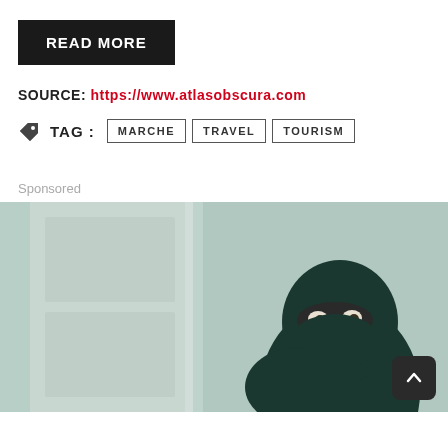READ MORE
SOURCE: https://www.atlasobscura.com
TAG : MARCHE TRAVEL TOURISM
Sponsored
[Figure (photo): Person wearing dark green ninja/balaclava outfit peeking around a light green door frame]